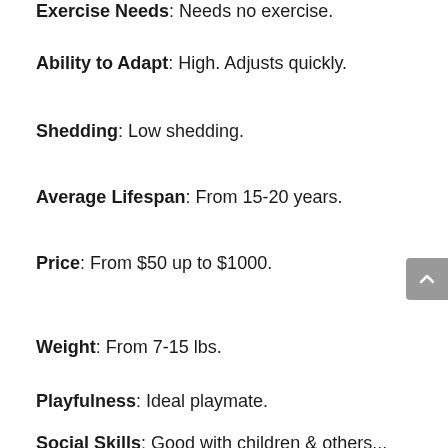Exercise Needs: Needs no exercise.
Ability to Adapt: High. Adjusts quickly.
Shedding: Low shedding.
Average Lifespan: From 15-20 years.
Price: From $50 up to $1000.
Weight: From 7-15 lbs.
Playfulness: Ideal playmate.
Social Skills: Good with children & others...